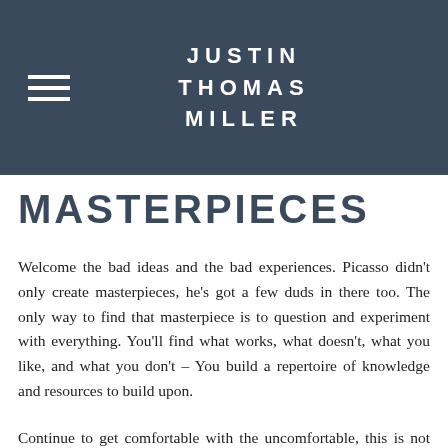JUSTIN THOMAS MILLER
MASTERPIECES
Welcome the bad ideas and the bad experiences. Picasso didn't only create masterpieces, he's got a few duds in there too. The only way to find that masterpiece is to question and experiment with everything. You'll find what works, what doesn't, what you like, and what you don't – You build a repertoire of knowledge and resources to build upon.
Continue to get comfortable with the uncomfortable, this is not something that will happen overnight, it's a journey and a journey that may never really end. Either way your on it and you